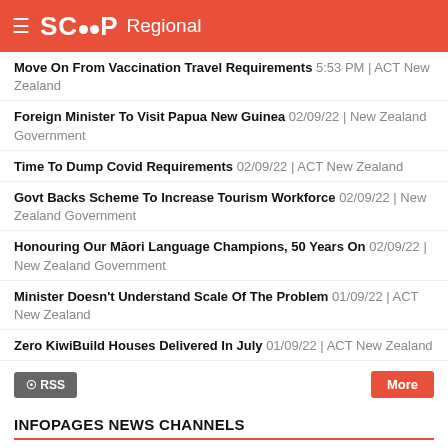SCOOP Regional
Move On From Vaccination Travel Requirements 5:53 PM | ACT New Zealand
Foreign Minister To Visit Papua New Guinea 02/09/22 | New Zealand Government
Time To Dump Covid Requirements 02/09/22 | ACT New Zealand
Govt Backs Scheme To Increase Tourism Workforce 02/09/22 | New Zealand Government
Honouring Our Māori Language Champions, 50 Years On 02/09/22 | New Zealand Government
Minister Doesn't Understand Scale Of The Problem 01/09/22 | ACT New Zealand
Zero KiwiBuild Houses Delivered In July 01/09/22 | ACT New Zealand
RSS | More
INFOPAGES NEWS CHANNELS
[Figure (logo): Logo strip with red box and green logo]